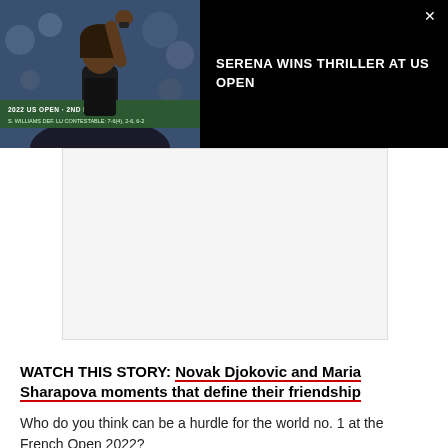[Figure (screenshot): Video overlay showing Serena Williams celebrating at the 2022 US Open 2nd Round, with scoreboard overlay text. Black background with video thumbnail on left and title on right.]
SERENA WINS THRILLER AT US OPEN
[Figure (other): Advertisement placeholder box, light gray background]
WATCH THIS STORY: Novak Djokovic and Maria Sharapova moments that define their friendship
Who do you think can be a hurdle for the world no. 1 at the French Open 2022?